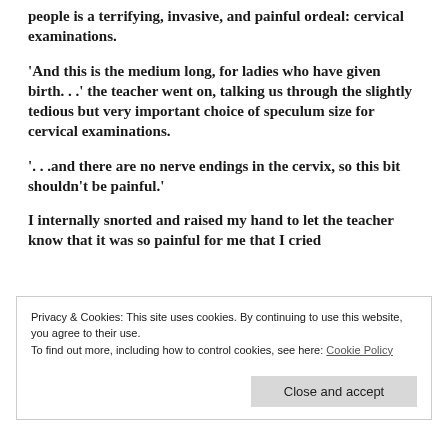people is a terrifying, invasive, and painful ordeal: cervical examinations.
'And this is the medium long, for ladies who have given birth. . .' the teacher went on, talking us through the slightly tedious but very important choice of speculum size for cervical examinations.
'. . .and there are no nerve endings in the cervix, so this bit shouldn't be painful.'
I internally snorted and raised my hand to let the teacher know that it was so painful for me that I cried
Privacy & Cookies: This site uses cookies. By continuing to use this website, you agree to their use.
To find out more, including how to control cookies, see here: Cookie Policy
Close and accept